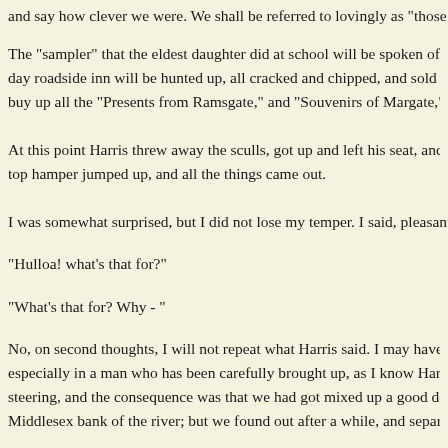and say how clever we were. We shall be referred to lovingly as "those grand e
The "sampler" that the eldest daughter did at school will be spoken of as "tape day roadside inn will be hunted up, all cracked and chipped, and sold for their buy up all the "Presents from Ramsgate," and "Souvenirs of Margate," that ma
At this point Harris threw away the sculls, got up and left his seat, and sat on h top hamper jumped up, and all the things came out.
I was somewhat surprised, but I did not lose my temper. I said, pleasantly eno
"Hulloa! what's that for?"
"What's that for? Why - "
No, on second thoughts, I will not repeat what Harris said. I may have been to especially in a man who has been carefully brought up, as I know Harris has b steering, and the consequence was that we had got mixed up a good deal with Middlesex bank of the river; but we found out after a while, and separated our
Harris, however, said he had done enough for a bit, and proposed that I should Hampton Court. What a dear old wall that is that runs along by the river there! what a charming picture it would make, with the lichen creeping here, and the on upon the busy river, and the sober old ivy clustering a little farther down! T draw, and knew how to paint, I could make a lovely sketch of that old wall, I'm quiet, and it is such a dear old place to ramble round in the early morning befo